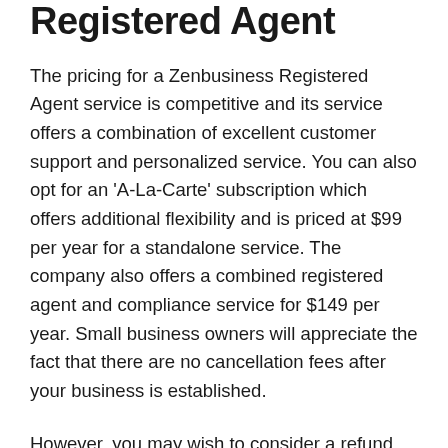Registered Agent
The pricing for a Zenbusiness Registered Agent service is competitive and its service offers a combination of excellent customer support and personalized service. You can also opt for an ‘A-La-Carte’ subscription which offers additional flexibility and is priced at $99 per year for a standalone service. The company also offers a combined registered agent and compliance service for $149 per year. Small business owners will appreciate the fact that there are no cancellation fees after your business is established.
However, you may wish to consider a refund policy if you are dissatisfied with the service.